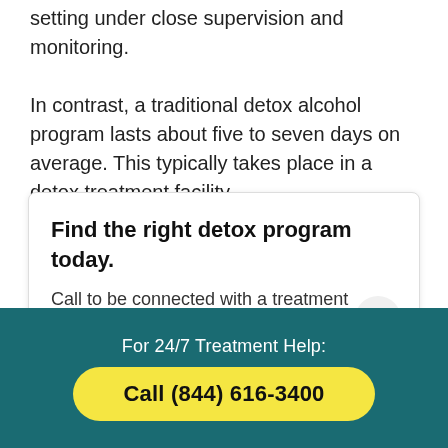setting under close supervision and monitoring. In contrast, a traditional detox alcohol program lasts about five to seven days on average. This typically takes place in a detox treatment facility.
Find the right detox program today. Call to be connected with a treatment specialist. 100% Free and Confidential.
For 24/7 Treatment Help:
Call (844) 616-3400